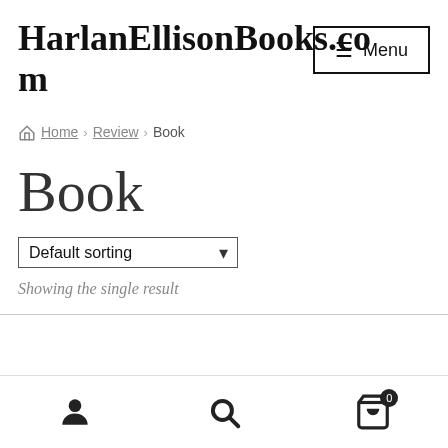HarlanEllisonBooks.com
Menu
Home › Review › Book
Book
Default sorting
Showing the single result